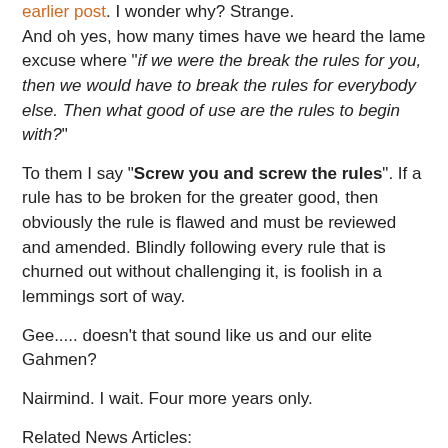earlier post. I wonder why? Strange.
And oh yes, how many times have we heard the lame excuse where "if we were the break the rules for you, then we would have to break the rules for everybody else. Then what good of use are the rules to begin with?"
To them I say "Screw you and screw the rules". If a rule has to be broken for the greater good, then obviously the rule is flawed and must be reviewed and amended. Blindly following every rule that is churned out without challenging it, is foolish in a lemmings sort of way.
Gee..... doesn't that sound like us and our elite Gahmen?
Nairmind. I wait. Four more years only.
Related News Articles:
TodayOnline (12 Jul 2007) - Twins Mom's Death: A Blood Issue